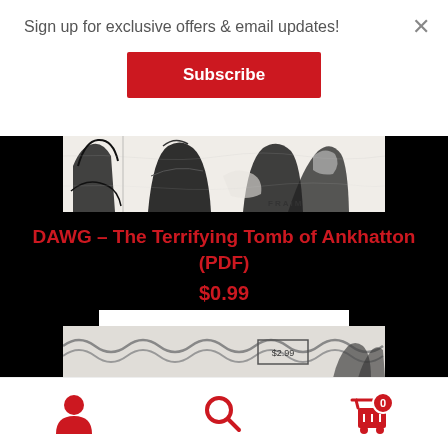Sign up for exclusive offers & email updates!
Subscribe
[Figure (illustration): Black and white comic/illustration strip showing sketchy line art figures, with the word FRAIM visible]
DAWG – The Terrifying Tomb of Ankhatton (PDF)
$0.99
Add to cart
[Figure (screenshot): Partial bottom product image strip showing another product]
Navigation bar with user icon, search icon, and cart icon with badge 0